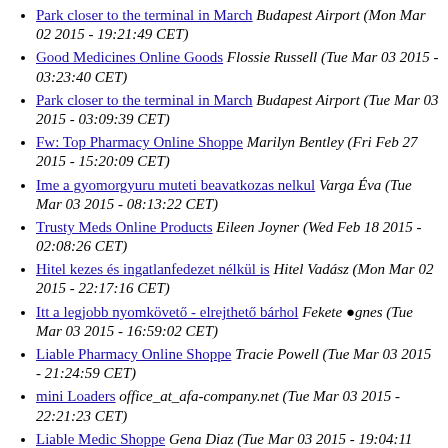Park closer to the terminal in March Budapest Airport (Mon Mar 02 2015 - 19:21:49 CET)
Good Medicines Online Goods Flossie Russell (Tue Mar 03 2015 - 03:23:40 CET)
Park closer to the terminal in March Budapest Airport (Tue Mar 03 2015 - 03:09:39 CET)
Fw: Top Pharmacy Online Shoppe Marilyn Bentley (Fri Feb 27 2015 - 15:20:09 CET)
Ime a gyomorgyuru muteti beavatkozas nelkul Varga Éva (Tue Mar 03 2015 - 08:13:22 CET)
Trusty Meds Online Products Eileen Joyner (Wed Feb 18 2015 - 02:08:26 CET)
Hitel kezes és ingatlanfedezet nélkül is Hitel Vadász (Mon Mar 02 2015 - 22:17:16 CET)
Itt a legjobb nyomkövető - elrejthető bárhol Fekete Ágnes (Tue Mar 03 2015 - 16:59:02 CET)
Liable Pharmacy Online Shoppe Tracie Powell (Tue Mar 03 2015 - 21:24:59 CET)
mini Loaders office_at_afa-company.net (Tue Mar 03 2015 - 22:21:23 CET)
Liable Medic Shoppe Gena Diaz (Tue Mar 03 2015 - 19:04:11 CET)
RE: Hot Drugs Site Vanessa Yang (Wed Mar 04 2015 - 02:50:03 CET)
Re: Excellent Drugs Online Goods Lilian Barrett (Wed Mar ...)